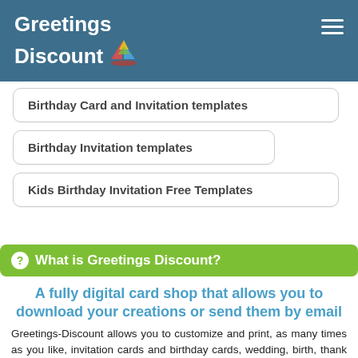Greetings Discount
Birthday Card and Invitation templates
Birthday Invitation templates
Kids Birthday Invitation Free Templates
What is Greetings Discount?
A fully digital card shop that allows you to download your creations or send them by email
Greetings-Discount allows you to customize and print, as many times as you like, invitation cards and birthday cards, wedding, birth, thank you cards, congratulations… We provide you with ready-to-print documents (a PDF file and a JPG file).